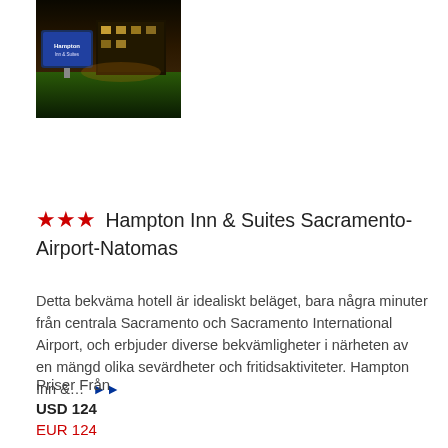[Figure (photo): Night photo of Hampton Inn & Suites hotel exterior with illuminated sign and green lawn in foreground]
★★★ Hampton Inn & Suites Sacramento-Airport-Natomas
Detta bekväma hotell är idealiskt beläget, bara några minuter från centrala Sacramento och Sacramento International Airport, och erbjuder diverse bekvämligheter i närheten av en mängd olika sevärdheter och fritidsaktiviteter. Hampton Inn &... ▶▶
Priser Från
USD 124
EUR 124